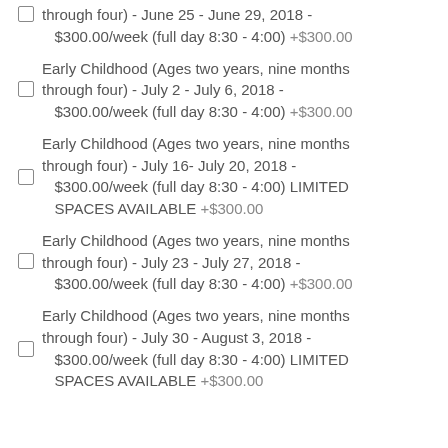through four) - June 25 - June 29, 2018 - $300.00/week (full day 8:30 - 4:00) +$300.00
Early Childhood (Ages two years, nine months through four) - July 2 - July 6, 2018 - $300.00/week (full day 8:30 - 4:00) +$300.00
Early Childhood (Ages two years, nine months through four) - July 16- July 20, 2018 - $300.00/week (full day 8:30 - 4:00) LIMITED SPACES AVAILABLE +$300.00
Early Childhood (Ages two years, nine months through four) - July 23 - July 27, 2018 - $300.00/week (full day 8:30 - 4:00) +$300.00
Early Childhood (Ages two years, nine months through four) - July 30 - August 3, 2018 - $300.00/week (full day 8:30 - 4:00) LIMITED SPACES AVAILABLE +$300.00